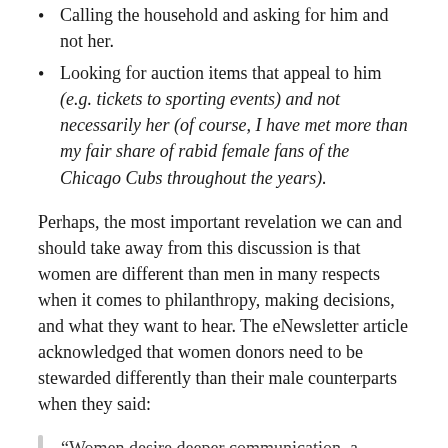Calling the household and asking for him and not her.
Looking for auction items that appeal to him (e.g. tickets to sporting events) and not necessarily her (of course, I have met more than my fair share of rabid female fans of the Chicago Cubs throughout the years).
Perhaps, the most important revelation we can and should take away from this discussion is that women are different than men in many respects when it comes to philanthropy, making decisions, and what they want to hear. The eNewsletter article acknowledged that women donors need to be stewarded differently than their male counterparts when they said:
“Women desire deeper communication, a greater efficiency and effect, they want to know the impact of the support, are more likely to stop giving if not